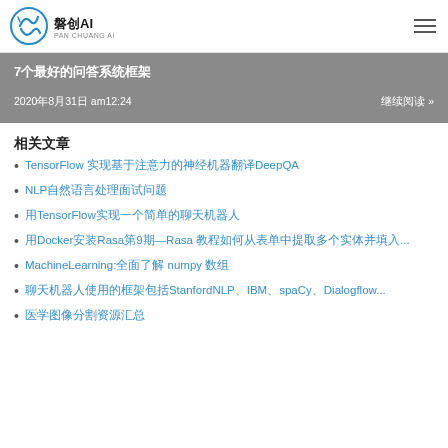磐创AI
7个最好的问答系统框架
2020年8月31日 am12:24   继续阅读 »
相关文章
TensorFlow 实现基于注意力的神经机器翻译DeepQA
NLP自然语言处理面试问题
用TensorFlow实现一个简单的聊天机器人
用Docker安装Rasa第9期—Rasa 教程如何从表单中提取多个实体并填入...
MachineLearning:全面了解 numpy 数组
聊天机器人使用的框架包括StanfordNLP、IBM、spaCy、Dialogflow...
医学图像分割资源汇总